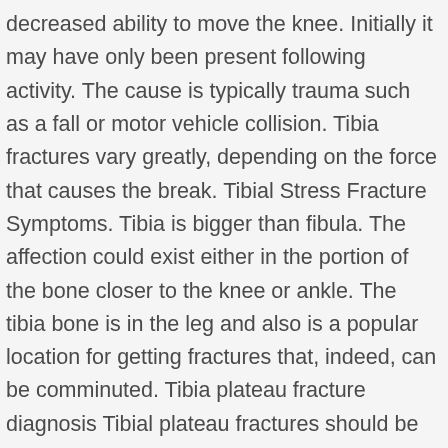decreased ability to move the knee. Initially it may have only been present following activity. The cause is typically trauma such as a fall or motor vehicle collision. Tibia fractures vary greatly, depending on the force that causes the break. Tibial Stress Fracture Symptoms. Tibia is bigger than fibula. The affection could exist either in the portion of the bone closer to the knee or ankle. The tibia bone is in the leg and also is a popular location for getting fractures that, indeed, can be comminuted. Tibia plateau fracture diagnosis Tibial plateau fractures should be suspected in patients presenting with knee pain, possible deformity, edema, and a significant mechanism of injury or risk factors that predispose to orthopedic injuries. Stress fractures occur over a period of time due to repetitive trauma to the leg. View our online guide for treatment for tibial